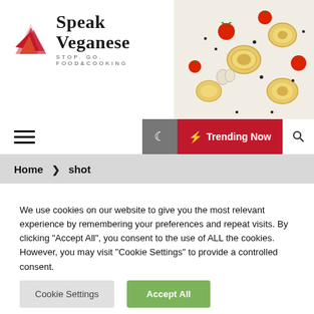[Figure (logo): Speak Veganese logo with red geometric leaf/flag icon, site title 'Speak Veganese' in serif font, subtitle 'STOP. GO. FOOD&COOKING' in small caps]
[Figure (photo): Overhead photo of pasta nests with cherry tomatoes, garlic, and black pepper on white background]
Trending Now
Home > shot
We use cookies on our website to give you the most relevant experience by remembering your preferences and repeat visits. By clicking "Accept All", you consent to the use of ALL the cookies. However, you may visit "Cookie Settings" to provide a controlled consent.
Cookie Settings | Accept All